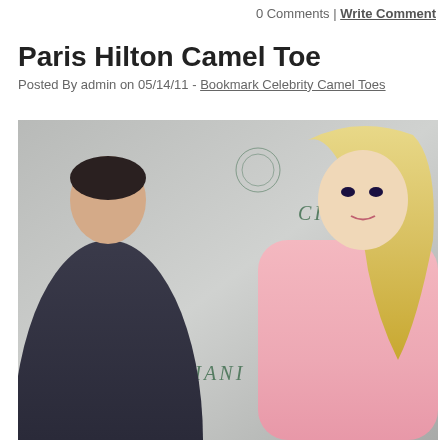0 Comments | Write Comment
Paris Hilton Camel Toe
Posted By admin on 05/14/11 - Bookmark Celebrity Camel Toes
[Figure (photo): Paris Hilton and a man posing in front of a Cipriani branded backdrop. Paris Hilton is wearing a pink fluffy outfit with long blonde hair. The man is wearing a dark suit.]